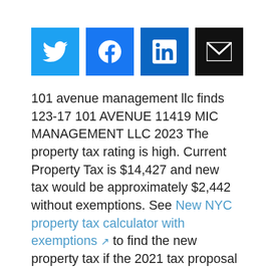[Figure (other): Row of four social media sharing buttons: Twitter (blue bird), Facebook (blue f), LinkedIn (blue in), Email (black envelope)]
101 avenue management llc finds 123-17 101 AVENUE 11419 MIC MANAGEMENT LLC 2023 The property tax rating is high. Current Property Tax is $14,427 and new tax would be approximately $2,442 without exemptions. See New NYC property tax calculator with exemptions ↗ to find the new property tax if the 2021 tax proposal passes
Profile (requires free login with Google Account)